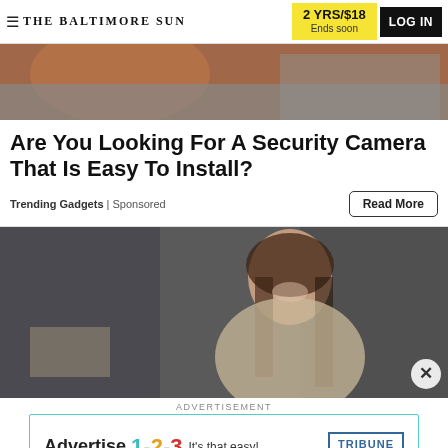THE BALTIMORE SUN | 2 YRS/$18 Ends soon | LOG IN
[Figure (photo): Partially visible photo showing a person in orange clothing at the top of the page]
Are You Looking For A Security Camera That Is Easy To Install?
Trending Gadgets | Sponsored
[Figure (photo): Photo of a smiling woman with dark hair, wearing a light-colored top, photographed against a dark background]
ADVERTISEMENT
[Figure (infographic): Tribune Publishing advertisement banner: 'Advertise 1-2-3 It's that easy! TRIBUNE PUBLISHING']